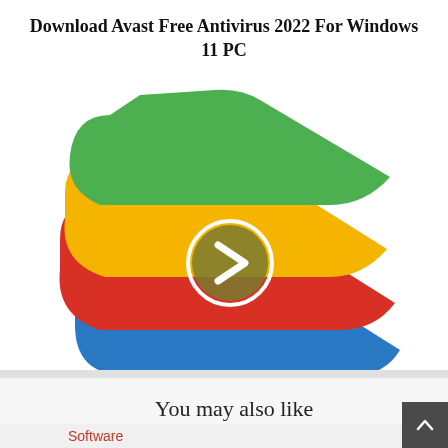Download Avast Free Antivirus 2022 For Windows 11 PC
[Figure (logo): BlueStacks logo: stacked colored cards (green, yellow, red, blue) with a white circle play/next button in the center]
Download BlueStacks Latest Version For Windows 11 PC
You may also like
Software